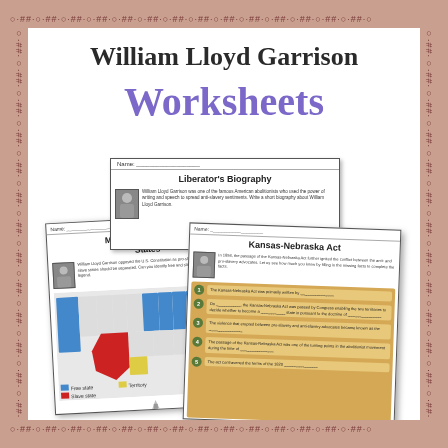William Lloyd Garrison
Worksheets
[Figure (illustration): Preview of three educational worksheets about William Lloyd Garrison: 'Liberator's Biography', 'Mapping Slave and Free States' with a US map showing states colored by slave/free status, and 'Kansas-Nebraska Act' with scroll-style fill-in questions]
Liberator's Biography
Mapping Slave and Free States
Kansas-Nebraska Act